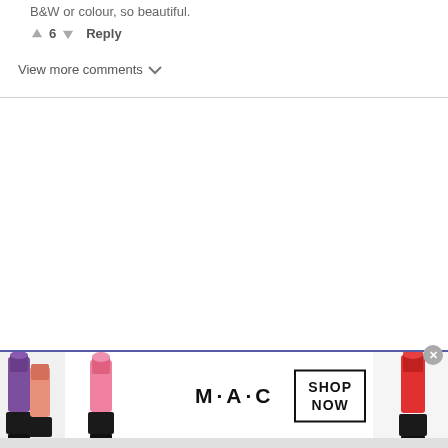B&W or colour, so beautiful.
↑ 6 ↓  Reply
View more comments ∨
[Figure (photo): MAC Cosmetics banner advertisement showing multiple lipsticks (purple, pink, coral) on left and right sides, MAC logo in center, and SHOP NOW button in a black-bordered box. Banner has blue border top and bottom.]